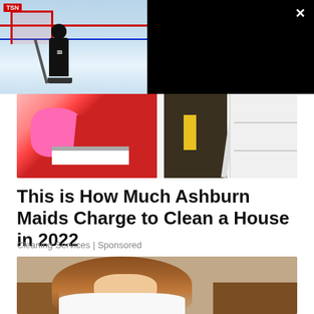[Figure (screenshot): Video overlay showing hockey player (jersey #33) near goal post on ice rink with TSN logo. Right side shows black background with video title text and close button.]
Mason McTavish's Golden Save
[Figure (photo): Photo of cleaning supplies: pink rubber gloves holding a red bucket with a scrub brush, and a person in a dark apron with a yellow cloth and a mop, next to white shelving unit.]
This is How Much Ashburn Maids Charge to Clean a House in 2022
Cleaning Services | Sponsored
[Figure (photo): Photo of a woman with brown hair leaning forward, wearing a white t-shirt, appearing to be sitting on a brown sofa.]